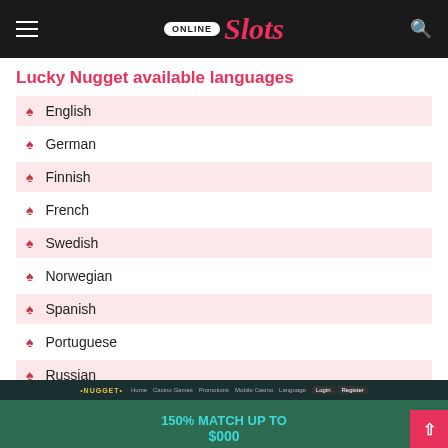Online Slots
Lucky Nugget available languages
English
German
Finnish
French
Swedish
Norwegian
Spanish
Portuguese
Russian
Japanese
[Figure (screenshot): Lucky Nugget casino website banner showing 150% MATCH UP TO $000 promotion]